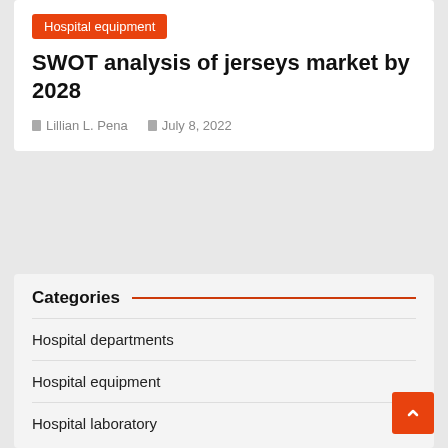Hospital equipment
SWOT analysis of jerseys market by 2028
Lillian L. Pena   July 8, 2022
Categories
Hospital departments
Hospital equipment
Hospital laboratory